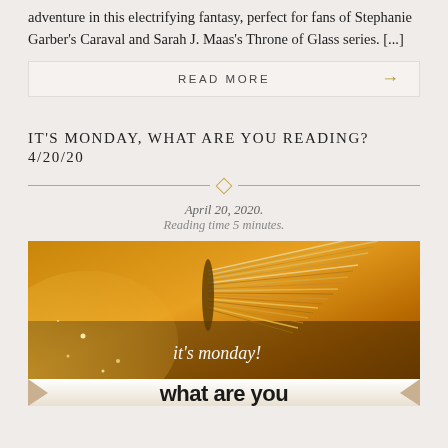adventure in this electrifying fantasy, perfect for fans of Stephanie Garber's Caraval and Sarah J. Maas's Throne of Glass series. [...]
READ MORE →
IT'S MONDAY, WHAT ARE YOU READING? 4/20/20
April 20, 2020. Reading time 5 minutes.
[Figure (photo): Close-up photo of fanned book pages with golden light and sparkles, with text overlay reading 'it's monday! what are you']